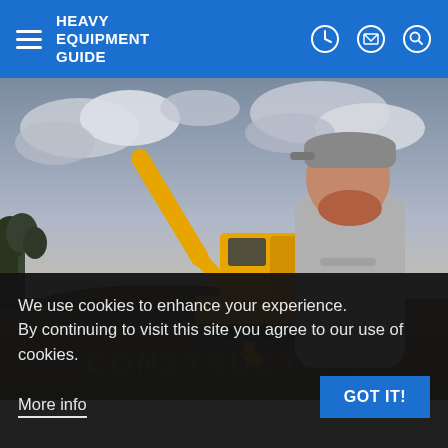HEAVY EQUIPMENT GUIDE
[Figure (photo): Man with red beard wearing grey hoodie and cap standing in front of a yellow JCB excavator on a construction site with cloudy sky background]
We use cookies to enhance your experience. By continuing to visit this site you agree to our use of cookies.
More info
GOT IT!
CONSTRUCTION